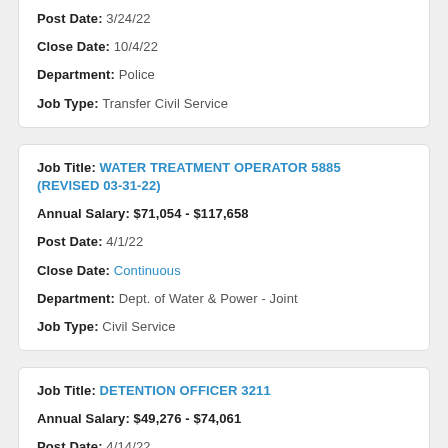Post Date: 3/24/22
Close Date: 10/4/22
Department: Police
Job Type: Transfer Civil Service
Job Title: WATER TREATMENT OPERATOR 5885 (REVISED 03-31-22)
Annual Salary: $71,054 - $117,658
Post Date: 4/1/22
Close Date: Continuous
Department: Dept. of Water & Power - Joint
Job Type: Civil Service
Job Title: DETENTION OFFICER 3211
Annual Salary: $49,276 - $74,061
Post Date: 4/14/22
Close Date: Continuous